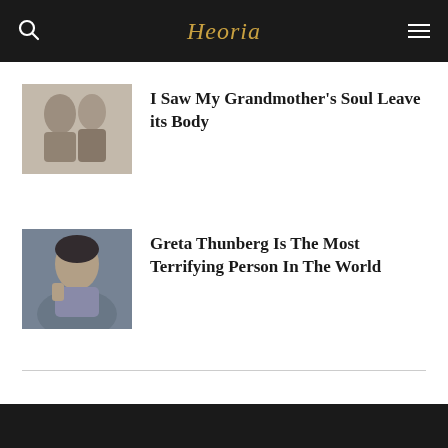Heoria
[Figure (photo): Black and white photo of two women, possibly grandmother and granddaughter, posing together]
I Saw My Grandmother’s Soul Leave its Body
[Figure (photo): Photo of Greta Thunberg, a young woman with dark hair in braids, resting chin on hand]
Greta Thunberg Is The Most Terrifying Person In The World